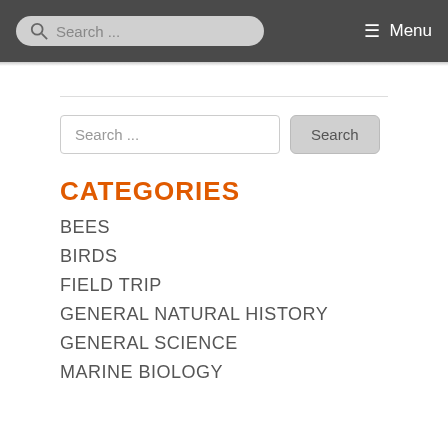Search ... Menu
Search ...
CATEGORIES
BEES
BIRDS
FIELD TRIP
GENERAL NATURAL HISTORY
GENERAL SCIENCE
MARINE BIOLOGY